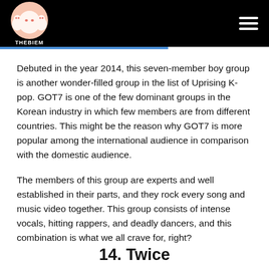THEBIEM
Debuted in the year 2014, this seven-member boy group is another wonder-filled group in the list of Uprising K-pop. GOT7 is one of the few dominant groups in the Korean industry in which few members are from different countries. This might be the reason why GOT7 is more popular among the international audience in comparison with the domestic audience.
The members of this group are experts and well established in their parts, and they rock every song and music video together. This group consists of intense vocals, hitting rappers, and deadly dancers, and this combination is what we all crave for, right?
14. Twice